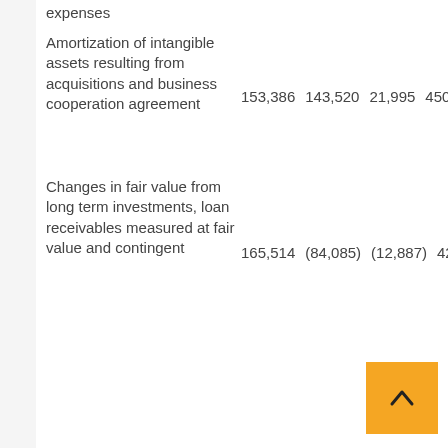expenses
|  | Col1 | Col2 | Col3 | Col4 | Col5 |
| --- | --- | --- | --- | --- | --- |
| Amortization of intangible assets resulting from acquisitions and business cooperation agreement | 153,386 | 143,520 | 21,995 | 450,413 | 6... |
| Changes in fair value from long term investments, loan receivables measured at fair value and contingent | 165,514 | (84,085) | (12,887) | 428,422 | (...) |